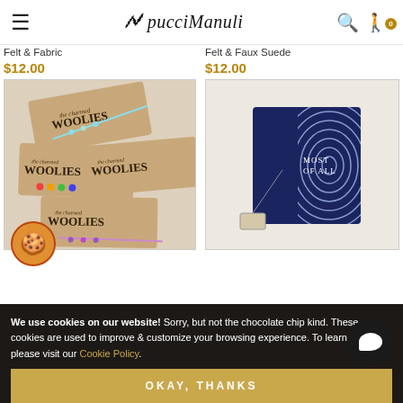pucciManuli — navigation header with menu, logo, search, and cart icons
Felt & Fabric
$12.00
[Figure (photo): Multiple The Charmed Woolies bracelet cards on a kraft brown background with colorful bead bracelets]
Felt & Faux Suede
$12.00
[Figure (photo): A dark navy blue notebook/journal with a fingerprint pattern and tag, reading MOST OF ALL]
We use cookies on our website! Sorry, but not the chocolate chip kind. These cookies are used to improve & customize your browsing experience. To learn more, please visit our Cookie Policy.
OKAY, THANKS